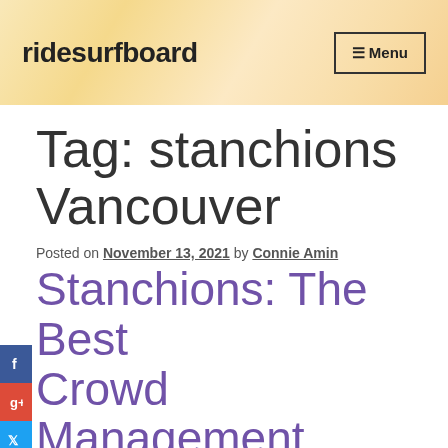ridesurfboard
Tag: stanchions Vancouver
Posted on November 13, 2021 by Connie Amin
Stanchions: The Best Crowd Management Solution For Your Guest